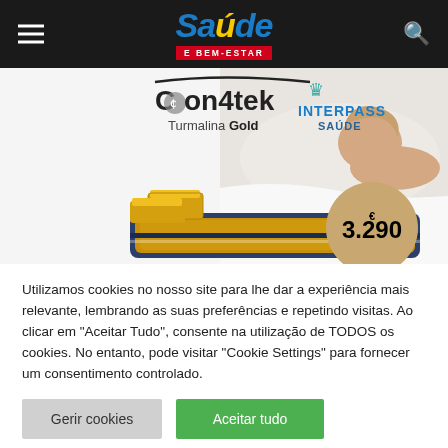Saúde E BEM-ESTAR
[Figure (illustration): Advertisement for Con4tek Turmalina Gold mattress with Interpass Saúde branding. Shows gold bars, a woman sleeping, the mattress, and a price badge of €3.290.]
Utilizamos cookies no nosso site para lhe dar a experiência mais relevante, lembrando as suas preferências e repetindo visitas. Ao clicar em "Aceitar Tudo", consente na utilização de TODOS os cookies. No entanto, pode visitar "Cookie Settings" para fornecer um consentimento controlado.
Gerir cookies
Aceitar tudo